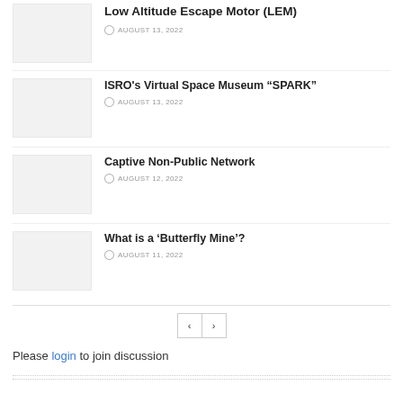[Figure (photo): Thumbnail image placeholder for Low Altitude Escape Motor article]
Low Altitude Escape Motor (LEM)
AUGUST 13, 2022
[Figure (photo): Thumbnail image placeholder for ISRO's Virtual Space Museum article]
ISRO’s Virtual Space Museum “SPARK”
AUGUST 13, 2022
[Figure (photo): Thumbnail image placeholder for Captive Non-Public Network article]
Captive Non-Public Network
AUGUST 12, 2022
[Figure (photo): Thumbnail image placeholder for What is a Butterfly Mine article]
What is a ‘Butterfly Mine’?
AUGUST 11, 2022
Please login to join discussion